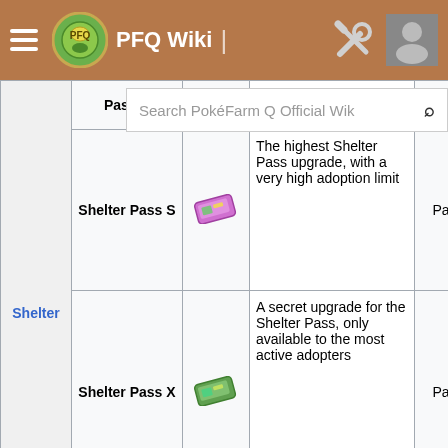PFQ Wiki
| Category | Name | Icon | Description | Type |
| --- | --- | --- | --- | --- |
| Shelter | Pass A | [icon] | increasing the adoption limit. | Passive |
| Shelter | Shelter Pass S | [icon] | The highest Shelter Pass upgrade, with a very high adoption limit | Passive |
| Shelter | Shelter Pass X | [icon] | A secret upgrade for the Shelter Pass, only available to the most active adopters | Passive |
| Shelter |  |  | An upgrade |  |